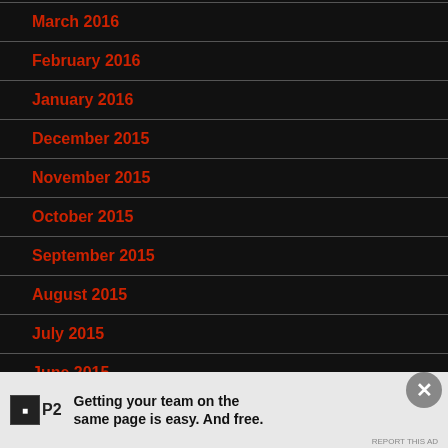March 2016
February 2016
January 2016
December 2015
November 2015
October 2015
September 2015
August 2015
July 2015
June 2015
Getting your team on the same page is easy. And free.